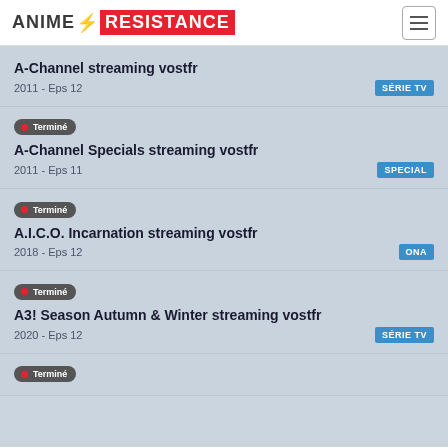ANIME RESISTANCE
A-Channel streaming vostfr
2011 - Eps 12
SÉRIE TV
Terminé
A-Channel Specials streaming vostfr
2011 - Eps 11
SPECIAL
Terminé
A.I.C.O. Incarnation streaming vostfr
2018 - Eps 12
ONA
Terminé
A3! Season Autumn & Winter streaming vostfr
2020 - Eps 12
SÉRIE TV
Terminé